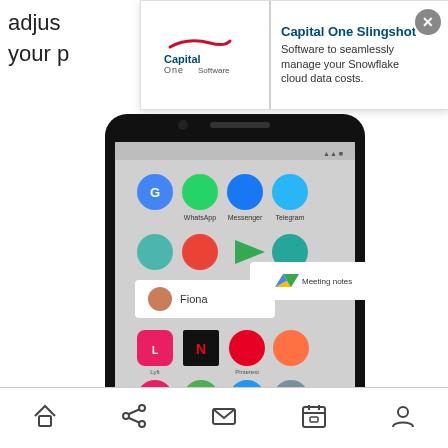adjus... n your p...
[Figure (screenshot): Advertisement banner overlay from Capital One Software for 'Capital One Slingshot' - Software to seamlessly manage your Snowflake cloud data costs. Features Capital One logo on the left and ad text on the right with a close (X) button.]
[Figure (photo): Android smartphone shown at an angle displaying a home screen with multiple app icons including Google, WhatsApp, Play Store, Messenger, Telegram, Skype, and others. A popup shows a contact named 'Fiona' and a Google Drive shortcut for 'Meeting notes'.]
[Figure (screenshot): Bottom navigation bar with home, share, mail, calendar, and person icons.]